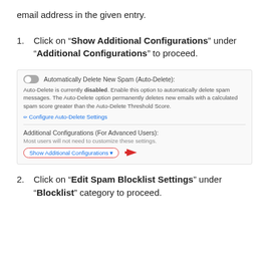email address in the given entry.
1. Click on "Show Additional Configurations" under "Additional Configurations" to proceed.
[Figure (screenshot): Screenshot of spam settings panel showing: Automatically Delete New Spam (Auto-Delete) toggle (disabled, grey), description text about Auto-Delete being disabled, a 'Configure Auto-Delete Settings' link, a divider, 'Additional Configurations (For Advanced Users)' header, 'Most users will not need to customize these settings.' subtext, and a circled 'Show Additional Configurations' button with a red arrow pointing to it.]
2. Click on "Edit Spam Blocklist Settings" under "Blocklist" category to proceed.